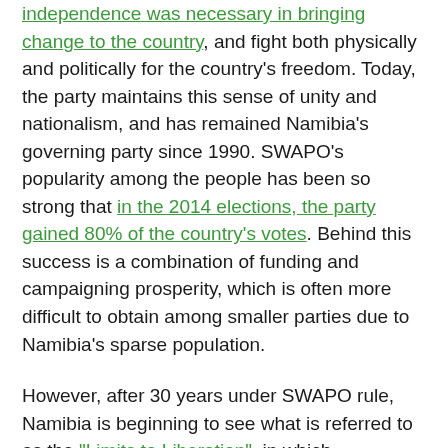independence was necessary in bringing change to the country, and fight both physically and politically for the country's freedom. Today, the party maintains this sense of unity and nationalism, and has remained Namibia's governing party since 1990. SWAPO's popularity among the people has been so strong that in the 2014 elections, the party gained 80% of the country's votes. Behind this success is a combination of funding and campaigning prosperity, which is often more difficult to obtain among smaller parties due to Namibia's sparse population.
However, after 30 years under SWAPO rule, Namibia is beginning to see what is referred to as the "Limits to Liberation", in which movements built on liberation and increased nationalism lead to un-democratic and increasingly corrupt leaders. SWAPO, which now maintains control over much of Namibia's politics, has recently faced allegations of corruption, abuse of power, and failures in administration that not only threaten their standing in government, but also speak